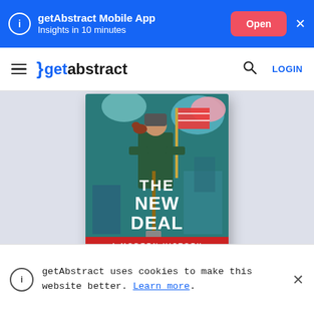getAbstract Mobile App — Insights in 10 minutes — Open
getabstract — LOGIN
[Figure (illustration): Book cover of 'The New Deal: A Modern History' by Michael Hiltzik. The cover shows an illustrated worker holding a shovel in front of an American flag and industrial scene, with large bold white text 'THE NEW DEAL' on a teal/blue background, a red banner reading 'A MODERN HISTORY', and the author name 'MICHAEL HILTZIK' on a cream/tan lower section.]
getAbstract uses cookies to make this website better. Learn more.